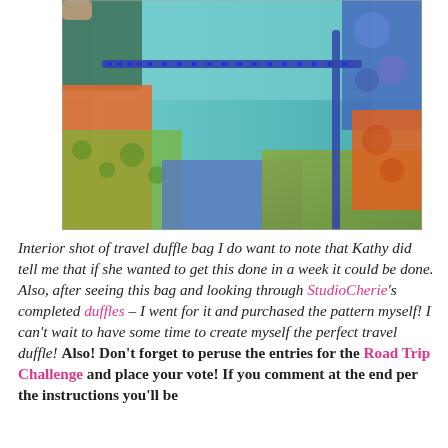[Figure (photo): Interior shot of a patchwork travel duffle bag showing colorful quilted fabric patches in blue, green, orange, and floral patterns with a blue zipper visible along the top edge.]
Interior shot of travel duffle bag I do want to note that Kathy did tell me that if she wanted to get this done in a week it could be done. Also, after seeing this bag and looking through StudioCherie's completed duffles – I went for it and purchased the pattern myself! I can't wait to have some time to create myself the perfect travel duffle! Also! Don't forget to peruse the entries for the Road Trip Challenge and place your vote! If you comment at the end per the instructions you'll be